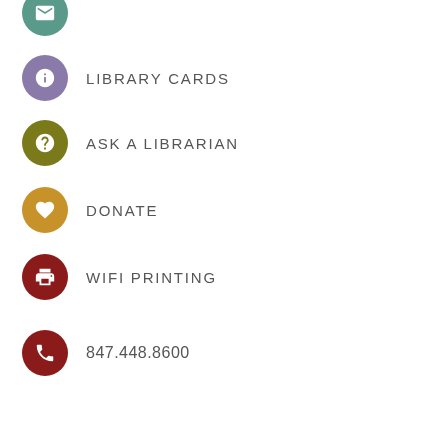LIBRARY CARDS
ASK A LIBRARIAN
DONATE
WIFI PRINTING
847.448.8600
Email Us
CONNECT WITH US
[Figure (infographic): Four social media icon circles: Facebook, Twitter, YouTube, Goodreads]
Translate »
…rary aims to be the heart of our diverse